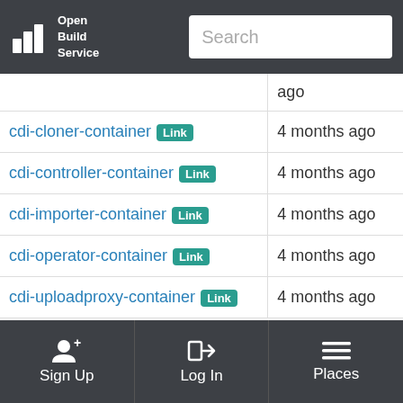Open Build Service — Search
| Package | Updated |
| --- | --- |
| (partial row) | ago |
| cdi-cloner-container [Link] | 4 months ago |
| cdi-controller-container [Link] | 4 months ago |
| cdi-importer-container [Link] | 4 months ago |
| cdi-operator-container [Link] | 4 months ago |
| cdi-uploadproxy-container [Link] | 4 months ago |
Sign Up | Log In | Places